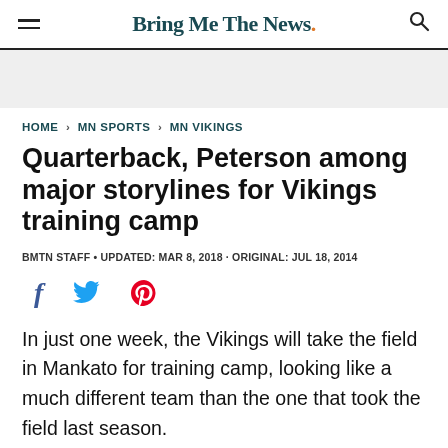Bring Me The News.
HOME > MN SPORTS > MN VIKINGS
Quarterback, Peterson among major storylines for Vikings training camp
BMTN STAFF • UPDATED: MAR 8, 2018 · ORIGINAL: JUL 18, 2014
[Figure (infographic): Social sharing icons: Facebook (f), Twitter (bird), Pinterest (p)]
In just one week, the Vikings will take the field in Mankato for training camp, looking like a much different team than the one that took the field last season.